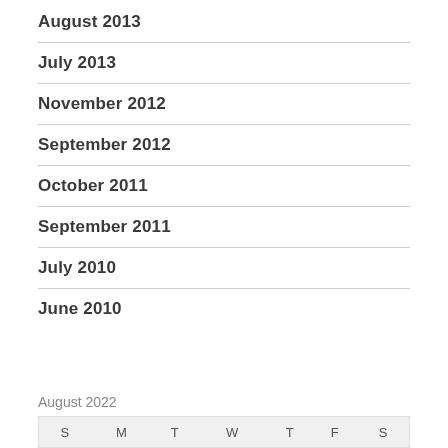August 2013
July 2013
November 2012
September 2012
October 2011
September 2011
July 2010
June 2010
August 2022
| S | M | T | W | T | F | S |
| --- | --- | --- | --- | --- | --- | --- |